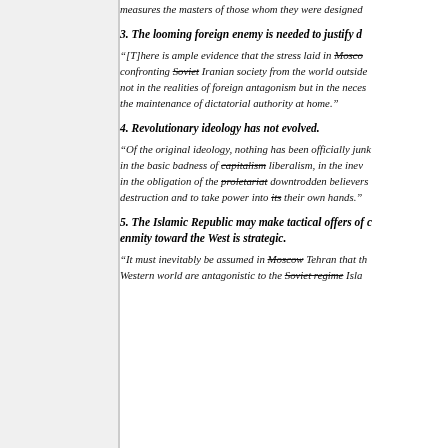measures the masters of those whom they were designed to...
3. The looming foreign enemy is needed to justify d...
“[T]here is ample evidence that the stress laid in Moscow confronting Soviet Iranian society from the world outside not in the realities of foreign antagonism but in the neces the maintenance of dictatorial authority at home.”
4. Revolutionary ideology has not evolved.
“Of the original ideology, nothing has been officially junk in the basic badness of capitalism liberalism, in the inev in the obligation of the proletariat downtrodden believers destruction and to take power into its their own hands.”
5. The Islamic Republic may make tactical offers of c enmity toward the West is strategic.
“It must inevitably be assumed in Moscow Tehran that th Western world are antagonistic to the Soviet regime Isla...